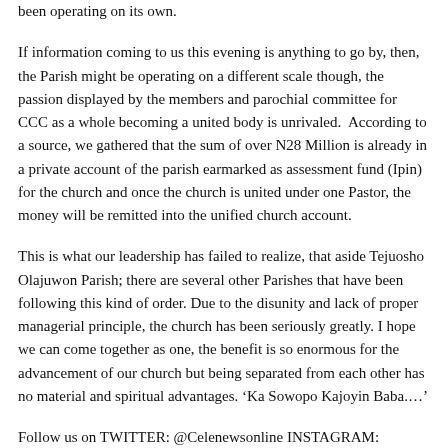been operating on its own.
If information coming to us this evening is anything to go by, then, the Parish might be operating on a different scale though, the passion displayed by the members and parochial committee for CCC as a whole becoming a united body is unrivaled.  According to a source, we gathered that the sum of over N28 Million is already in a private account of the parish earmarked as assessment fund (Ipin) for the church and once the church is united under one Pastor, the money will be remitted into the unified church account.
This is what our leadership has failed to realize, that aside Tejuosho Olajuwon Parish; there are several other Parishes that have been following this kind of order. Due to the disunity and lack of proper managerial principle, the church has been seriously greatly. I hope we can come together as one, the benefit is so enormous for the advancement of our church but being separated from each other has no material and spiritual advantages. ‘Ka Sowopo Kajoyin Baba.…’
Follow us on TWITTER: @Celenewsonline INSTAGRAM: celestialnews_CNO FACEBOOK: Celestial News Online